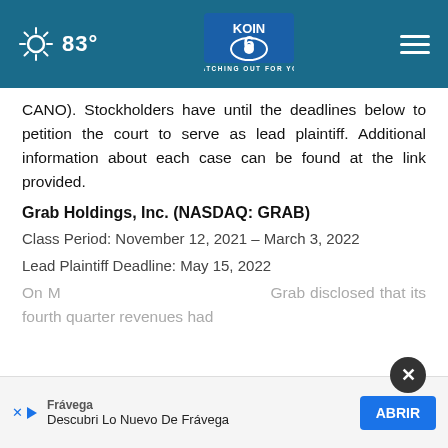83° | KOIN 6 | WATCHING OUT FOR YOU
CANO). Stockholders have until the deadlines below to petition the court to serve as lead plaintiff. Additional information about each case can be found at the link provided.
Grab Holdings, Inc. (NASDAQ: GRAB)
Class Period: November 12, 2021 – March 3, 2022
Lead Plaintiff Deadline: May 15, 2022
On M... Grab disclosed that its fourth quarter revenues had
[Figure (screenshot): Advertisement banner: Frávega - Descubri Lo Nuevo De Frávega with ABRIR button]